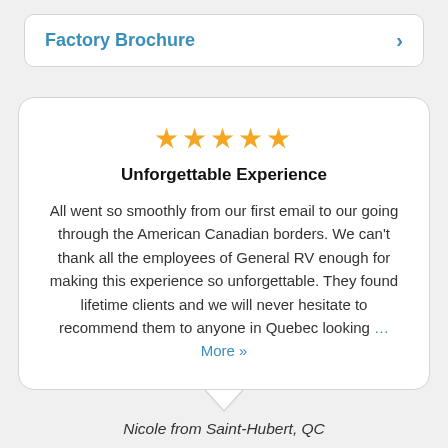Factory Brochure
Unforgettable Experience
All went so smoothly from our first email to our going through the American Canadian borders. We can't thank all the employees of General RV enough for making this experience so unforgettable. They found lifetime clients and we will never hesitate to recommend them to anyone in Quebec looking … More »
Nicole from Saint-Hubert, QC